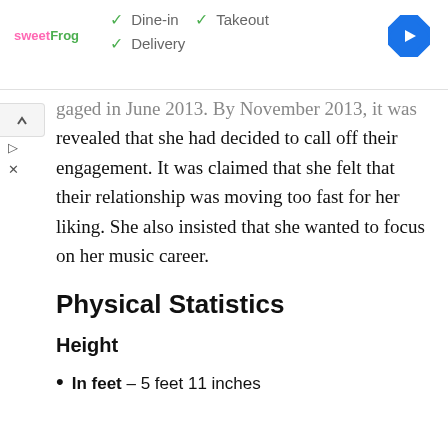[Figure (screenshot): Ad banner showing sweetFrog logo with checkmarks for Dine-in, Takeout, and Delivery options, plus a Google Maps navigation icon]
...gaged in June 2013. By November 2013, it was revealed that she had decided to call off their engagement. It was claimed that she felt that their relationship was moving too fast for her liking. She also insisted that she wanted to focus on her music career.
Physical Statistics
Height
In feet – 5 feet 11 inches